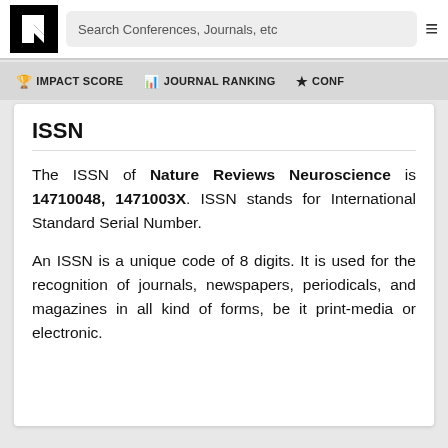[Figure (logo): Black square logo with white letter K-like arrow icon]
Search Conferences, Journals, etc
🏆 IMPACT SCORE   📊 JOURNAL RANKING   ★ CONF
ISSN
The ISSN of Nature Reviews Neuroscience is 14710048, 1471003X. ISSN stands for International Standard Serial Number.
An ISSN is a unique code of 8 digits. It is used for the recognition of journals, newspapers, periodicals, and magazines in all kind of forms, be it print-media or electronic.